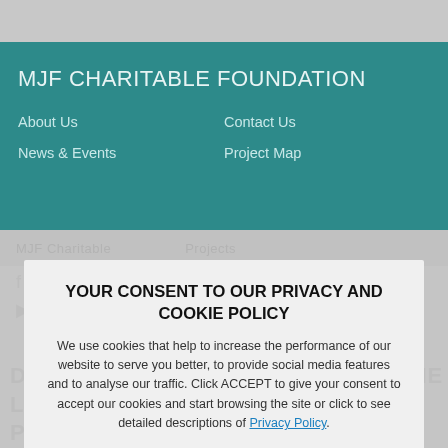MJF CHARITABLE FOUNDATION
About Us
News & Events
Contact Us
Project Map
YOUR CONSENT TO OUR PRIVACY AND COOKIE POLICY
We use cookies that help to increase the performance of our website to serve you better, to provide social media features and to analyse our traffic. Click ACCEPT to give your consent to accept our cookies and start browsing the site or click to see detailed descriptions of Privacy Policy.
ACCEPT
DIRECTLY OR IN... BENEFITING THE LIVES OF OVER 100,000 LESS PRIVILEGED